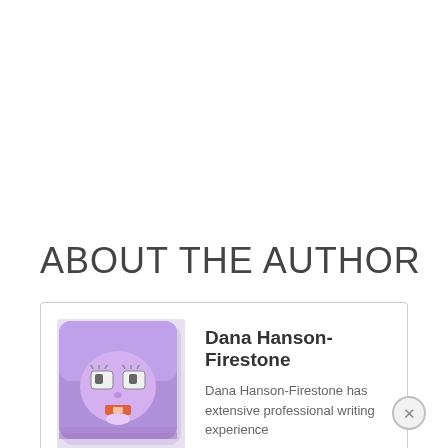ABOUT THE AUTHOR
[Figure (illustration): Author avatar: cartoon purple square character with eyes and a smile]
Dana Hanson-Firestone
Dana Hanson-Firestone has extensive professional writing experience including technical and report writing, informational articles, persuasive articles, contrast and comparison,